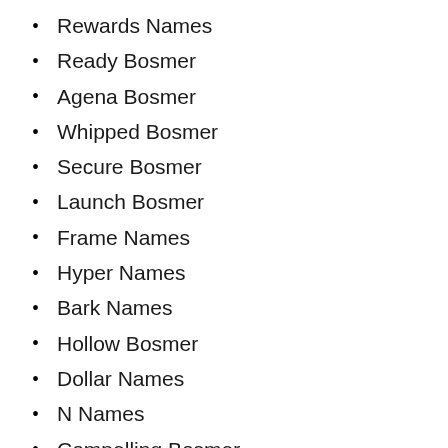Rewards Names
Ready Bosmer
Agena Bosmer
Whipped Bosmer
Secure Bosmer
Launch Bosmer
Frame Names
Hyper Names
Bark Names
Hollow Bosmer
Dollar Names
N Names
Compelling Bosmer